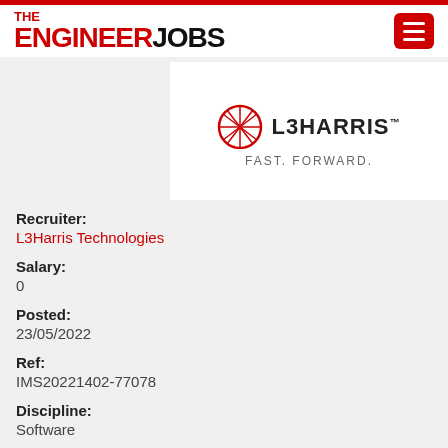THE ENGINEER JOBS
[Figure (logo): L3Harris Technologies logo with globe icon and tagline FAST. FORWARD.]
Recruiter: L3Harris Technologies
Salary: 0
Posted: 23/05/2022
Ref: IMS20221402-77078
Discipline: Software
Sector: